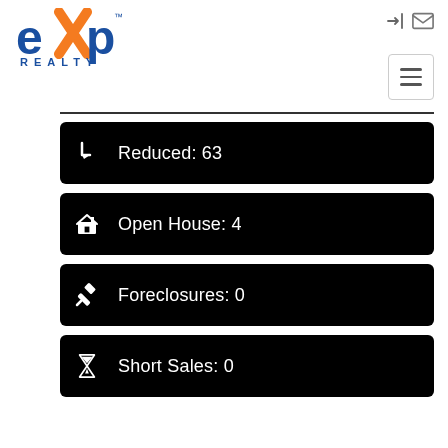[Figure (logo): eXp Realty logo with blue 'exp' text and orange X, with 'REALTY' text below]
Reduced: 63
Open House: 4
Foreclosures: 0
Short Sales: 0